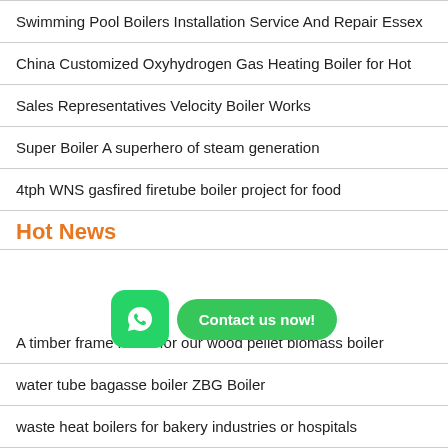Swimming Pool Boilers Installation Service And Repair Essex
China Customized Oxyhydrogen Gas Heating Boiler for Hot
Sales Representatives Velocity Boiler Works
Super Boiler A superhero of steam generation
4tph WNS gasfired firetube boiler project for food
Hot News
A timber frame home for our wood pellet biomass boiler
water tube bagasse boiler ZBG Boiler
waste heat boilers for bakery industries or hospitals